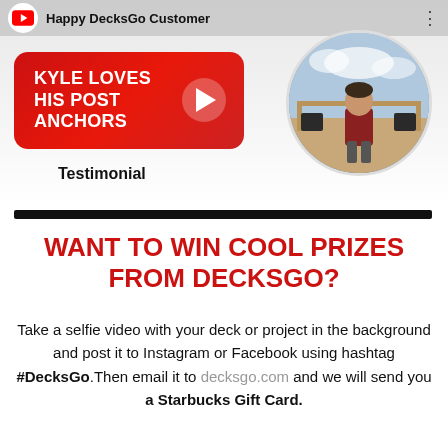[Figure (screenshot): YouTube-style video thumbnail showing a man seated on a deck. Red banner reads 'KYLE LOVES HIS POST ANCHORS' with a play button. Channel logo and title 'Happy DecksGo Customer' at top. Circular profile photo of man on deck at right.]
Testimonial
WANT TO WIN COOL PRIZES FROM DECKSGO?
Take a selfie video with your deck or project in the background and post it to Instagram or Facebook using hashtag #DecksGo.Then email it to decksgo.com and we will send you a Starbucks Gift Card.